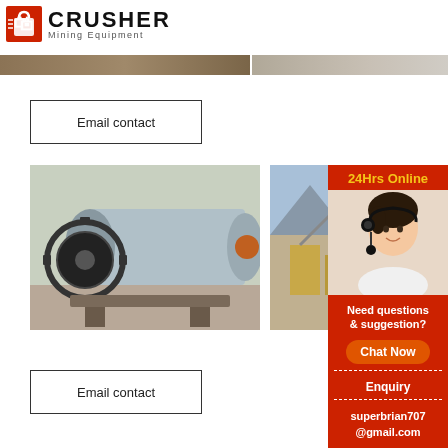[Figure (logo): Crusher Mining Equipment logo with red shopping bag icon and bold CRUSHER text]
[Figure (photo): Top banner with two photos: quarry/mining scene on left, light-colored stone or quarry on right]
Email contact
[Figure (photo): Ball mill industrial grinding machine in factory/outdoor setting]
[Figure (photo): Mining/quarry facility with equipment and mountains in background]
[Figure (infographic): Red sidebar: 24Hrs Online, customer service rep with headset photo, Need questions & suggestion?, Chat Now button, Enquiry, superbrian707@gmail.com]
Email contact